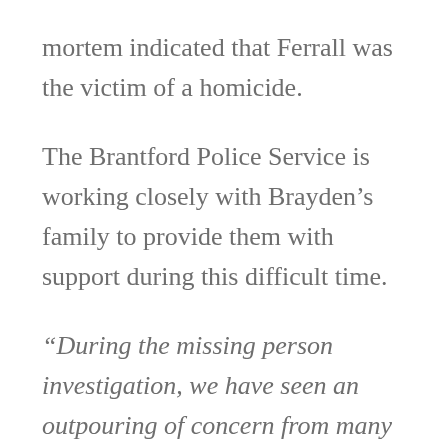mortem indicated that Ferrall was the victim of a homicide.
The Brantford Police Service is working closely with Brayden’s family to provide them with support during this difficult time.
“During the missing person investigation, we have seen an outpouring of concern from many of Brayden’s friends and would like to